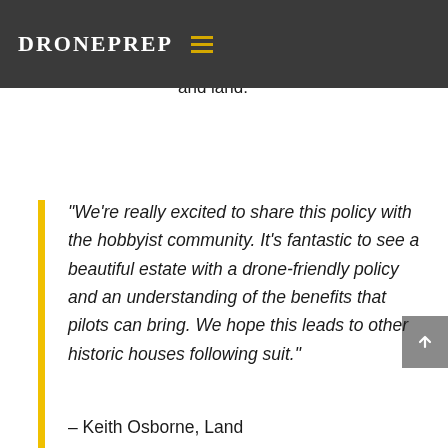DronePrep
DronePrep team is working with pilots and landowners to open up safe spaces for pilots to take off and land.
“We’re really excited to share this policy with the hobbyist community. It’s fantastic to see a beautiful estate with a drone-friendly policy and an understanding of the benefits that pilots can bring. We hope this leads to other historic houses following suit.”
– Keith Osborne, Land